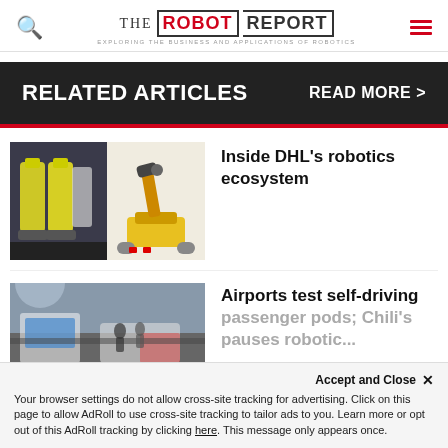THE ROBOT REPORT — EXPLORING THE BUSINESS AND APPLICATIONS OF ROBOTICS
RELATED ARTICLES   READ MORE >
[Figure (photo): Two composite images: left shows yellow-and-white autonomous robots in a warehouse; right shows a yellow robotic arm on a mobile base (DHL branded).]
Inside DHL's robotics ecosystem
[Figure (photo): Street scene at an airport with people and self-driving passenger pod vehicles visible.]
Airports test self-driving passenger pods; Chili's pauses robotic...
Accept and Close ✕
Your browser settings do not allow cross-site tracking for advertising. Click on this page to allow AdRoll to use cross-site tracking to tailor ads to you. Learn more or opt out of this AdRoll tracking by clicking here. This message only appears once.